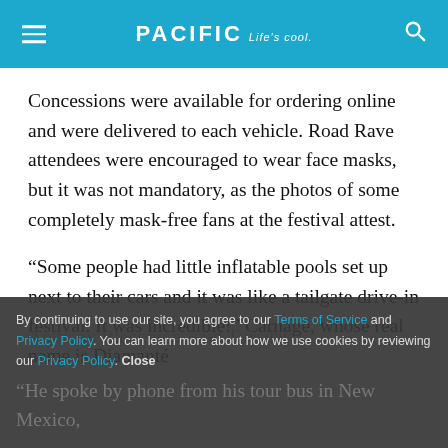PACIFIC Life's cool.
Concessions were available for ordering online and were delivered to each vehicle. Road Rave attendees were encouraged to wear face masks, but it was not mandatory, as the photos of some completely mask-free fans at the festival attest.
“Some people had little inflatable pools set up next to their cars and it was like a tailgate drive-in festival. It was incredible!” Carnage, whose real name is Diamanté
Anthony Blackmon, said Tuesday.
By continuing to use our site, you agree to our Terms of Service and Privacy Policy. You can learn more about how we use cookies by reviewing our Privacy Policy. Close
“He spoke by phone from his tour bus in New Mexico,